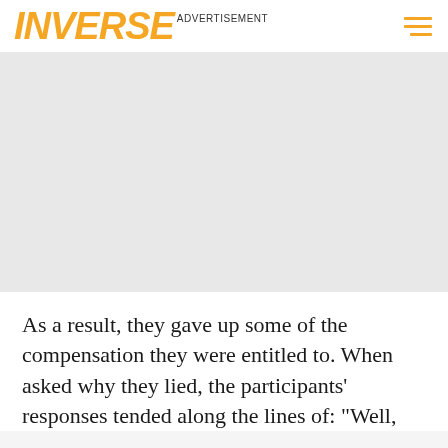INVERSE ADVERTISEMENT
[Figure (other): Advertisement placeholder area (gray rectangle)]
As a result, they gave up some of the compensation they were entitled to. When asked why they lied, the participants' responses tended along the lines of: "Well,